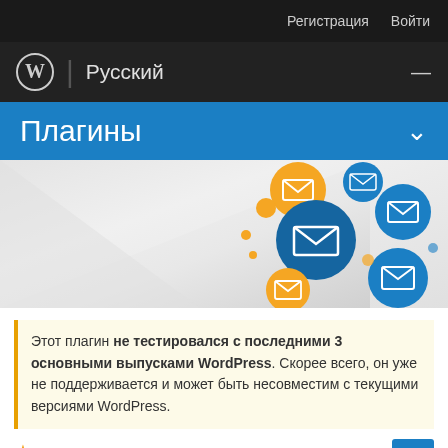Регистрация  Войти
WordPress | Русский
Плагины
[Figure (illustration): Decorative hero image with paper-fold effect and email envelope icons on blue and orange circles on the right side]
Этот плагин не тестировался с последними 3 основными выпусками WordPress. Скорее всего, он уже не поддерживается и может быть несовместим с текущими версиями WordPress.